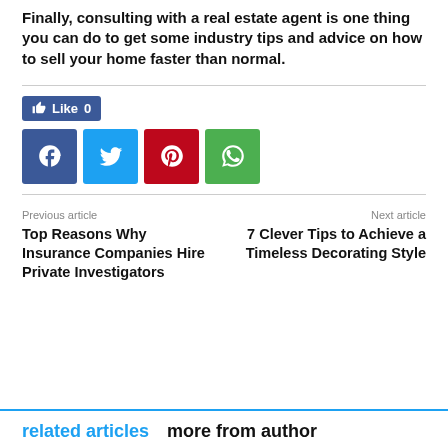Finally, consulting with a real estate agent is one thing you can do to get some industry tips and advice on how to sell your home faster than normal.
[Figure (other): Social sharing buttons: Facebook Like button showing 0 likes, and four square social icons for Facebook (blue), Twitter (light blue), Pinterest (red), WhatsApp (green)]
Previous article
Next article
Top Reasons Why Insurance Companies Hire Private Investigators
7 Clever Tips to Achieve a Timeless Decorating Style
related articles more from author